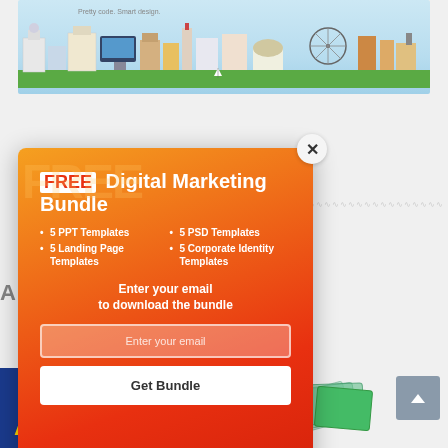[Figure (illustration): City skyline illustration with colorful buildings against a light blue sky background, with tagline 'Pretty code. Smart design.' in top left]
[Figure (infographic): Orange-to-red gradient popup modal offering FREE Digital Marketing Bundle with list items, email input, and Get Bundle button. Close X button in top right corner.]
FREE Digital Marketing Bundle
5 PPT Templates
5 PSD Templates
5 Landing Page Templates
5 Corporate Identity Templates
Enter your email to download the bundle
Enter your email
Get Bundle
ANIMATION